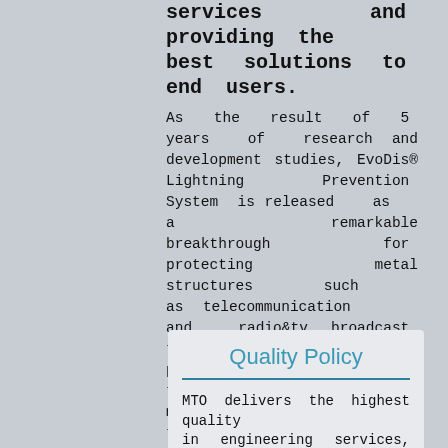services and providing the best solutions to end users.
As the result of 5 years of research and development studies, EvoDis® Lightning Prevention System is released as a remarkable breakthrough for protecting metal structures such as telecommunication and radio&tv broadcast towers, tower cranes, power transmission towers, wind turbines, meteorological observation towers and camera poles against lightning strikes.
Quality Policy
MTO delivers the highest quality in engineering services, product